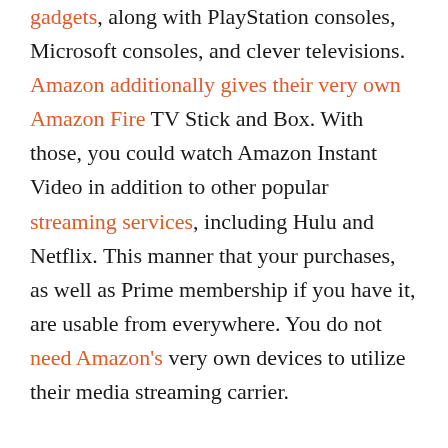gadgets, along with PlayStation consoles, Microsoft consoles, and clever televisions. Amazon additionally gives their very own Amazon Fire TV Stick and Box. With those, you could watch Amazon Instant Video in addition to other popular streaming services, including Hulu and Netflix. This manner that your purchases, as well as Prime membership if you have it, are usable from everywhere. You do not need Amazon's very own devices to utilize their media streaming carrier.
Neither are to be had with Android. While there are viable options for viewing Amazon Instant Video, like using the browser, you cannot make use of the app. The Amazon Instant Video software for Android does no longer work with drugs and it does come with a few issues that have